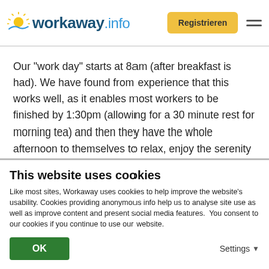[Figure (logo): workaway.info logo with sun graphic in header]
Our "work day" starts at 8am (after breakfast is had). We have found from experience that this works well, as it enables most workers to be finished by 1:30pm (allowing for a 30 minute rest for morning tea) and then they have the whole afternoon to themselves to relax, enjoy the serenity of our surroundings and do whatever personal stuff they need/wish to do. You will have free access to WiFi while here. We love working with energetic folks who are not afraid of a
This website uses cookies
Like most sites, Workaway uses cookies to help improve the website's usability. Cookies providing anonymous info help us to analyse site use as well as improve content and present social media features.  You consent to our cookies if you continue to use our website.